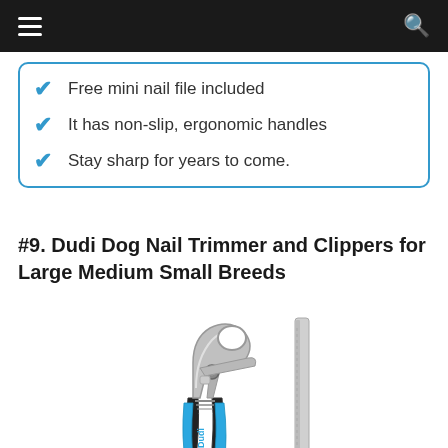Free mini nail file included
It has non-slip, ergonomic handles
Stay sharp for years to come.
#9. Dudi Dog Nail Trimmer and Clippers for Large Medium Small Breeds
[Figure (photo): Product photo of Dudi dog nail clippers with blue and black ergonomic handles and a nail file, on white background]